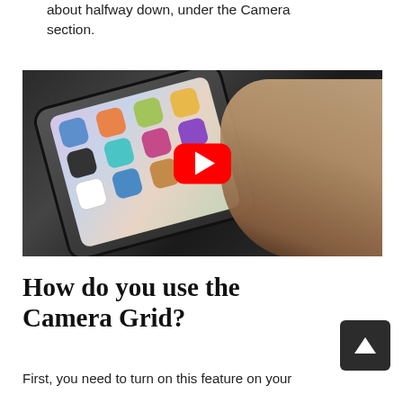about halfway down, under the Camera section.
[Figure (screenshot): A hand holding an iPhone with a colorful app grid visible on screen, with a YouTube play button overlay in the center. The phone is shown at an angle against a dark background.]
How do you use the Camera Grid?
First, you need to turn on this feature on your